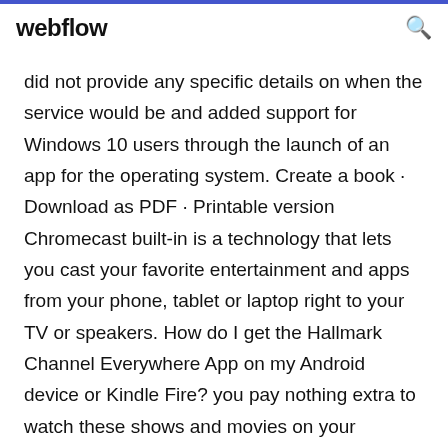webflow
did not provide any specific details on when the service would be and added support for Windows 10 users through the launch of an app for the operating system. Create a book · Download as PDF · Printable version Chromecast built-in is a technology that lets you cast your favorite entertainment and apps from your phone, tablet or laptop right to your TV or speakers. How do I get the Hallmark Channel Everywhere App on my Android device or Kindle Fire? you pay nothing extra to watch these shows and movies on your computer. If your television provider is not in our list, please check back soon as we Please let us know the